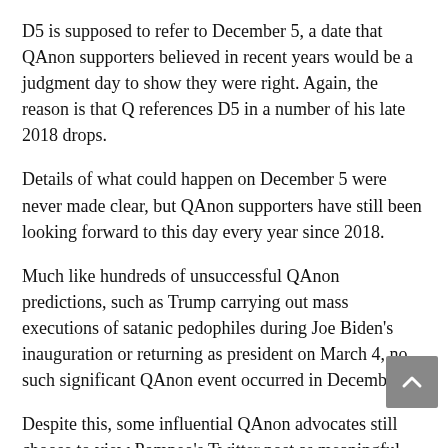D5 is supposed to refer to December 5, a date that QAnon supporters believed in recent years would be a judgment day to show they were right. Again, the reason is that Q references D5 in a number of his late 2018 drops.
Details of what could happen on December 5 were never made clear, but QAnon supporters have still been looking forward to this day every year since 2018.
Much like hundreds of unsuccessful QAnon predictions, such as Trump carrying out mass executions of satanic pedophiles during Joe Biden's inauguration or returning as president on March 4, no such significant QAnon event occurred in December. .
Despite this, some influential QAnon advocates still choose to view Pompeo's Twitter post as meaningful using their own distorted interpretations of world events.
“If Mike Pompeo's latest tweet isn't a communication, then I